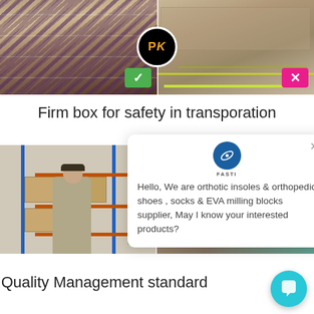[Figure (photo): Comparison image showing two cardboard boxes side by side with a PK badge in the center. Left side shows a firm box with a green checkmark, right side shows a damaged/poor box with a pink X mark.]
Firm box for safety in transporation
[Figure (photo): Comparison image of warehouse/storage areas. Left shows a worker in a warehouse with shelving and boxes (green checkmark), right shows another storage area (pink X mark). A chat popup overlays the right portion with FASTI logo and text: Hello, We are orthotic insoles & orthopedic shoes , socks & EVA milling blocks supplier, May I know your interested products?]
Quality Management standard